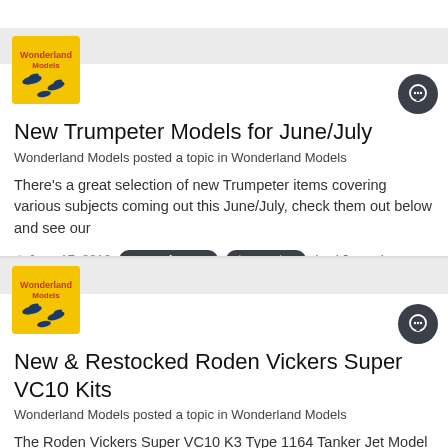[Figure (logo): Wonderland Models logo - yellow background with blue bird/aircraft silhouettes, card 1]
New Trumpeter Models for June/July
Wonderland Models posted a topic in Wonderland Models
There's a great selection of new Trumpeter items covering various subjects coming out this June/July, check them out below and see our
June 17, 2016  new releases  trumpeter  (and 8 more)
[Figure (logo): Wonderland Models logo - yellow background with blue bird/aircraft silhouettes, card 2]
New & Restocked Roden Vickers Super VC10 Kits
Wonderland Models posted a topic in Wonderland Models
The Roden Vickers Super VC10 K3 Type 1164 Tanker Jet Model Kit has now arrived, furthermore the Vickers Super VC10 Type 1151